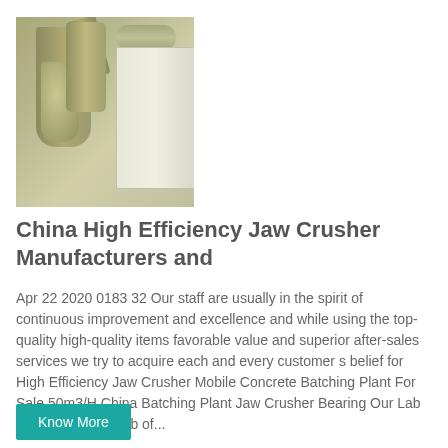[Figure (photo): Industrial machinery photo showing grinding mill equipment with cylindrical tanks, pipes, and a shed structure]
China High Efficiency Jaw Crusher Manufacturers and
Apr 22 2020 0183 32 Our staff are usually in the spirit of continuous improvement and excellence and while using the top-quality high-quality items favorable value and superior after-sales services we try to acquire each and every customer s belief for High Efficiency Jaw Crusher Mobile Concrete Batching Plant For Sale 50m3/H China Batching Plant Jaw Crusher Bearing Our Lab now is National Lab of...
Know More